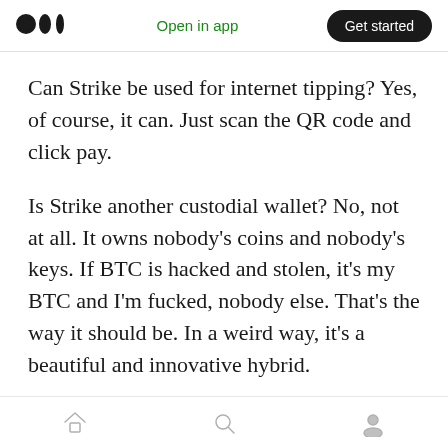Medium logo | Open in app | Get started
Can Strike be used for internet tipping? Yes, of course, it can. Just scan the QR code and click pay.
Is Strike another custodial wallet? No, not at all. It owns nobody's coins and nobody's keys. If BTC is hacked and stolen, it's my BTC and I'm fucked, nobody else. That's the way it should be. In a weird way, it's a beautiful and innovative hybrid.
Strike in the wild
They a...
Home | Search | Profile